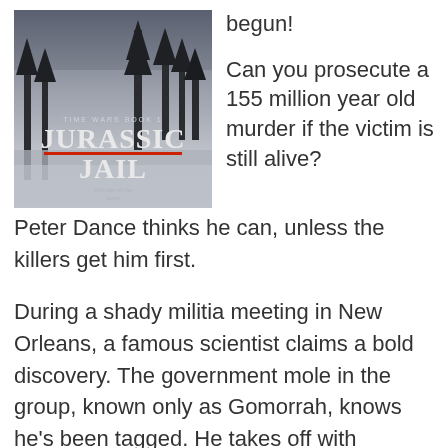[Figure (illustration): Book cover for 'Jurassic Jail', Time Wars Book 1, showing dark misty trees with red text]
begun!

Can you prosecute a 155 million year old murder if the victim is still alive? Peter Dance thinks he can, unless the killers get him first.
During a shady militia meeting in New Orleans, a famous scientist claims a bold discovery. The government mole in the group, known only as Gomorrah, knows he's been tagged. He takes off with carloads of gunners on his tail.
Meanwhile, a partial skeleton turns up in a flooded Tennessee ditch, the bones brown and aged from